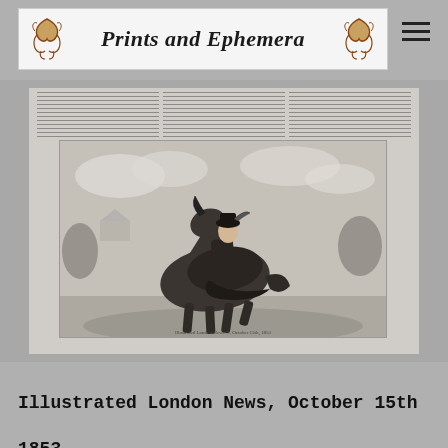Prints and Ephemera
[Figure (illustration): Scanned page from Illustrated London News showing a woman in Victorian dress riding a horse in an outdoor landscape, with text columns at the top of the newspaper page.]
Illustrated London News, October 15th 1853.